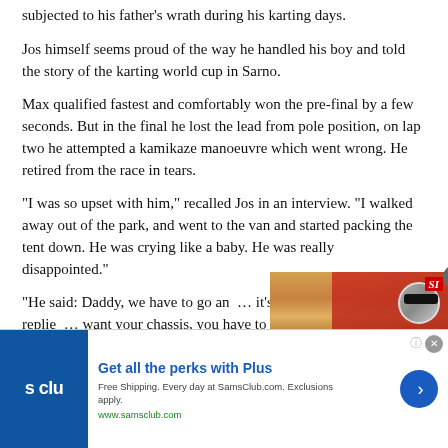subjected to his father's wrath during his karting days.
Jos himself seems proud of the way he handled his boy and told the story of the karting world cup in Sarno.
Max qualified fastest and comfortably won the pre-final by a few seconds. But in the final he lost the lead from pole position, on lap two he attempted a kamikaze manoeuvre which went wrong. He retired from the race in tears.
“I was so upset with him,” recalled Jos in an interview. “I walked away out of the park, and went to the van and started packing the tent down. He was crying like a baby. He was really disappointed.”
“He said: Daddy, we have to go and… it’s the last race of the day. I replied… want your chassis, you have to go…
[Figure (screenshot): Video overlay showing a racing driver (Kimi Raikkonen) at a NASCAR event, with SI logo, play button, and caption: KIMI RAIKKONEN'S PRESENCE AT WATKINS GLEN THIS WEEKEND WILL LIKELY GARNER GLOBAL ATTENTION AS HE MAKES HIS NASCAR CUP SERIES DEBUT.]
[Figure (screenshot): Advertisement for SamsClub.com (S Club / s clu logo): 'Get all the perks with Plus. Free Shipping. Every day at SamsClub.com. Exclusions apply. www.samsclub.com']